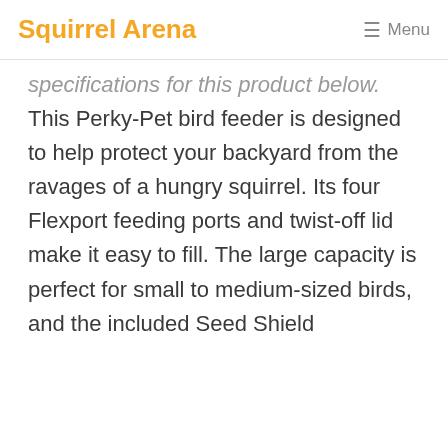Squirrel Arena  ☰ Menu
specifications for this product below. This Perky-Pet bird feeder is designed to help protect your backyard from the ravages of a hungry squirrel. Its four Flexport feeding ports and twist-off lid make it easy to fill. The large capacity is perfect for small to medium-sized birds, and the included Seed Shield